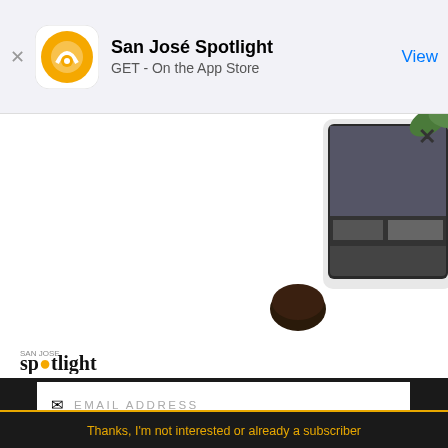[Figure (screenshot): App Store smart banner for San José Spotlight app showing app icon, name, GET button label, and View link]
[Figure (photo): Hand holding a smartphone showing the San José Spotlight news app interface with article headlines]
[Figure (illustration): San José Spotlight advertisement showing logo, tagline 'Where San Jose locals start the day.', website URL, and tablet device image]
EMAIL ADDRESS
SUBSCRIBE
Thanks, I'm not interested or already a subscriber